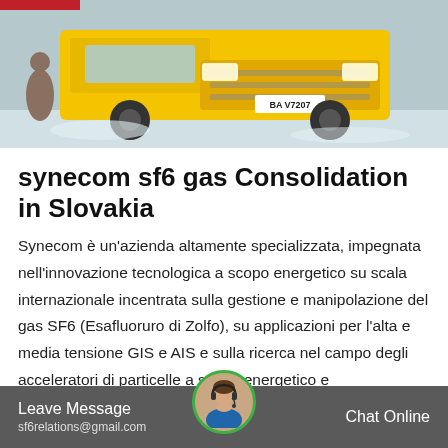[Figure (photo): Yellow truck (front view) parked in a snowy area with a person standing nearby. License plate reads BA V7207.]
synecom sf6 gas Consolidation in Slovakia
Synecom è un'azienda altamente specializzata, impegnata nell'innovazione tecnologica a scopo energetico su scala internazionale incentrata sulla gestione e manipolazione del gas SF6 (Esafluoruro di Zolfo), su applicazioni per l'alta e media tensione GIS e AIS e sulla ricerca nel campo degli acceleratori di particelle a scopo energetico e commerciale.
Leave Message   sf6relations@gmail.com   Chat Online